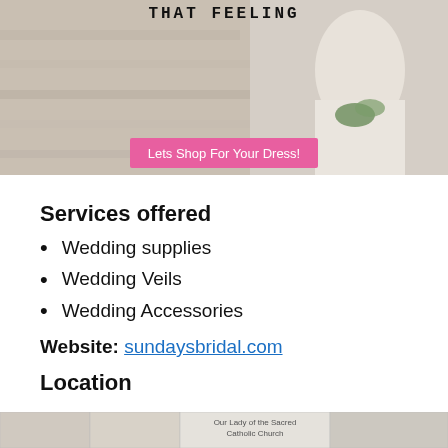[Figure (photo): Banner image of a bride in a white lace dress holding greenery, with a pink button overlay saying 'Lets Shop For Your Dress!' and partial text 'THAT FEELING' at top]
Services offered
Wedding supplies
Wedding Veils
Wedding Accessories
Website: sundaysbridal.com
Location
Address: 6856 Boulevard 26, richland hills, Tx 76180
[Figure (map): Partial map strip at bottom showing street map tiles with text 'Our Lady of the Sacred Catholic Church']